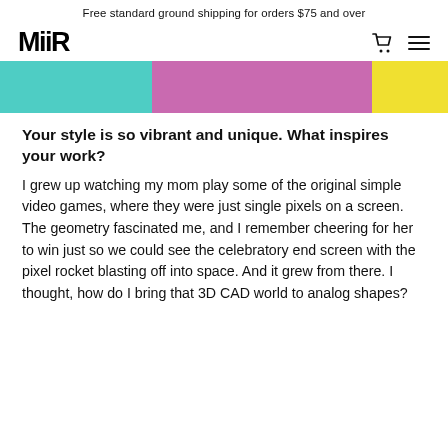Free standard ground shipping for orders $75 and over
[Figure (logo): MiiR brand logo in bold black text]
[Figure (photo): Cropped hero image with teal, pink/magenta, and yellow color blocks]
Your style is so vibrant and unique. What inspires your work?
I grew up watching my mom play some of the original simple video games, where they were just single pixels on a screen. The geometry fascinated me, and I remember cheering for her to win just so we could see the celebratory end screen with the pixel rocket blasting off into space. And it grew from there. I thought, how do I bring that 3D CAD world to analog shapes?